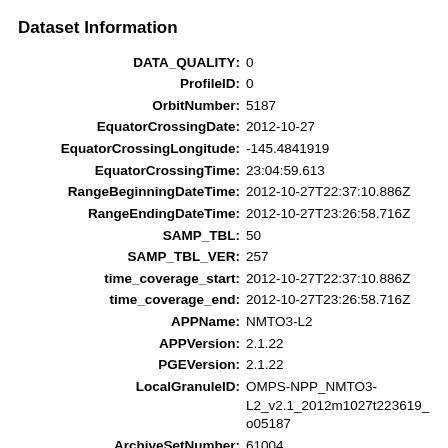Dataset Information
| Key | Value |
| --- | --- |
| DATA_QUALITY | 0 |
| ProfileID | 0 |
| OrbitNumber | 5187 |
| EquatorCrossingDate | 2012-10-27 |
| EquatorCrossingLongitude | -145.4841919 |
| EquatorCrossingTime | 23:04:59.613 |
| RangeBeginningDateTime | 2012-10-27T22:37:10.886Z |
| RangeEndingDateTime | 2012-10-27T23:26:58.716Z |
| SAMP_TBL | 50 |
| SAMP_TBL_VER | 257 |
| time_coverage_start | 2012-10-27T22:37:10.886Z |
| time_coverage_end | 2012-10-27T23:26:58.716Z |
| APPName | NMTO3-L2 |
| APPVersion | 2.1.22 |
| PGEVersion | 2.1.22 |
| LocalGranuleID | OMPS-NPP_NMTO3-L2_v2.1_2012m1027t223619_o05187 |
| ArchiveSetNumber | 61004 |